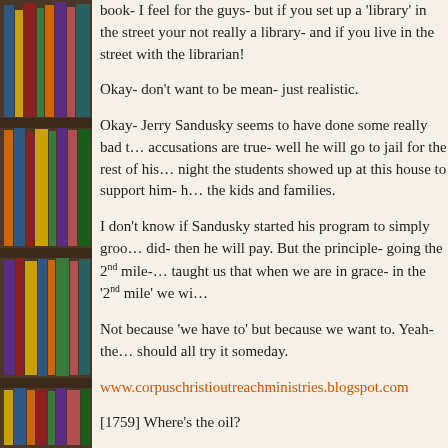[Figure (photo): Bookshelf with colorful books on the left side of the page]
book- I feel for the guys- but if you set up a 'library' in the street your not really a library- and if you live in the street with the librarian!
Okay- don't want to be mean- just realistic.
Okay- Jerry Sandusky seems to have done some really bad things- if the accusations are true- well he will go to jail for the rest of his life- the other night the students showed up at this house to support him- how about the kids and families.
I don't know if Sandusky started his program to simply groom kids- if he did- then he will pay. But the principle- going the 2nd mile- Jesus taught us that when we are in grace- in the '2nd mile' we wi...
Not because 'we have to' but because we want to. Yeah- the... should all try it someday.
www.corpuschristioutreachministries.blogspot.com
[1759] Where's the oil?
Let's cover a parable of Jesus. In Matthew 25 Jesus tells the s... meet the bridegroom, 5 were wise- 5 were foolish. The wise o...